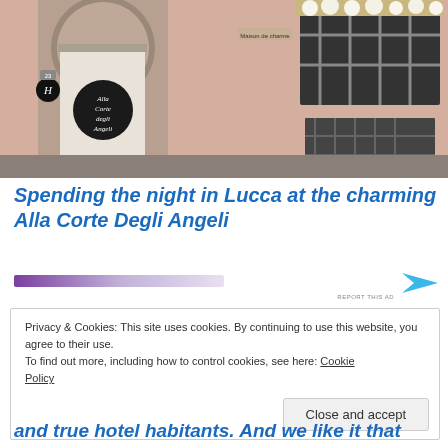[Figure (photo): Exterior facade of Alla Corte Degli Angeli hotel in Lucca, showing an arched doorway with a circular sign, a barred window with flower box on the right, and pinkish-beige stone walls]
Spending the night in Lucca at the charming Alla Corte Degli Angeli
[Figure (other): Advertisement banner with purple gradient on left and blue arrow shape on right with REPORT THIS AD text]
Privacy & Cookies: This site uses cookies. By continuing to use this website, you agree to their use.
To find out more, including how to control cookies, see here: Cookie Policy
Close and accept
and true hotel habitants. And we like it that way.